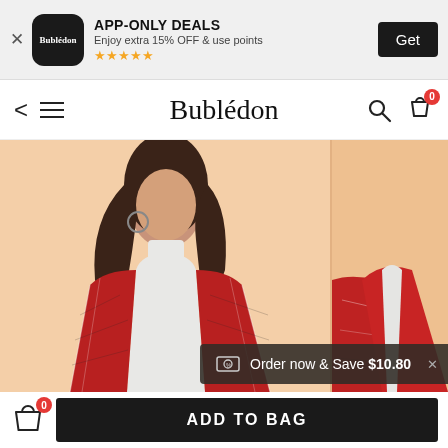[Figure (screenshot): App-only deals banner for Bubledon app showing extra 15% OFF & use points offer with 5-star rating and Get button]
APP-ONLY DEALS
Enjoy extra 15% OFF & use points
★★★★★
[Figure (screenshot): Navigation bar with back arrow, hamburger menu, Bubledon brand name, search icon, and shopping bag with 0 badge]
[Figure (photo): Woman wearing a red plaid blazer over a white turtleneck, product photo on light peach background, shown in two adjacent panels]
Order now & Save $10.80
ADD TO BAG